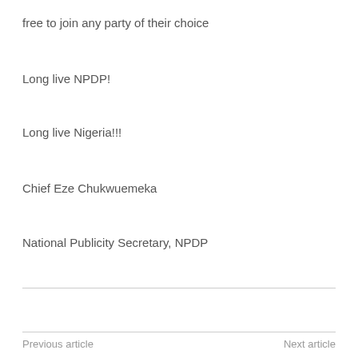free to join any party of their choice
Long live NPDP!
Long live Nigeria!!!
Chief Eze Chukwuemeka
National Publicity Secretary, NPDP
Previous article    Next article